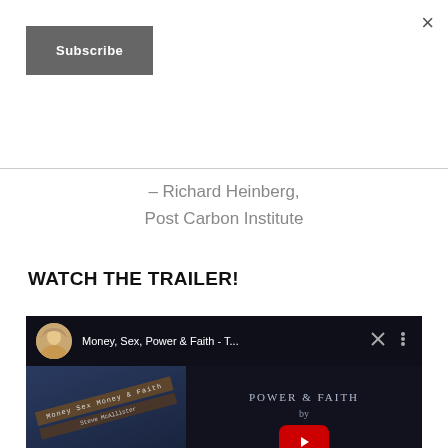×
Subscribe
– Richard Heinberg,
Post Carbon Institute
WATCH THE TRAILER!
[Figure (screenshot): YouTube video embed thumbnail for 'Money, Sex, Power & Faith - T...' by McAllister, showing video controls, avatar, play button, and Amazon.com banner at bottom.]